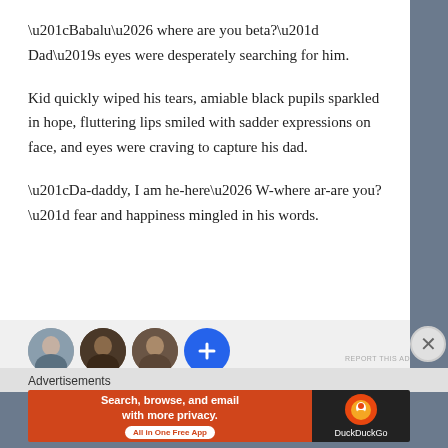“Babalu… where are you beta?” Dad’s eyes were desperately searching for him.
Kid quickly wiped his tears, amiable black pupils sparkled in hope, fluttering lips smiled with sadder expressions on face, and eyes were craving to capture his dad.
“Da-daddy, I am he-here… W-where ar-are you?” fear and happiness mingled in his words.
[Figure (screenshot): Ad area with circular profile avatars and a plus button on a light grey background, with a REPORT THIS AD link]
Advertisements
[Figure (screenshot): DuckDuckGo advertisement banner: orange left section with text 'Search, browse, and email with more privacy. All in One Free App', dark right section with DuckDuckGo logo]